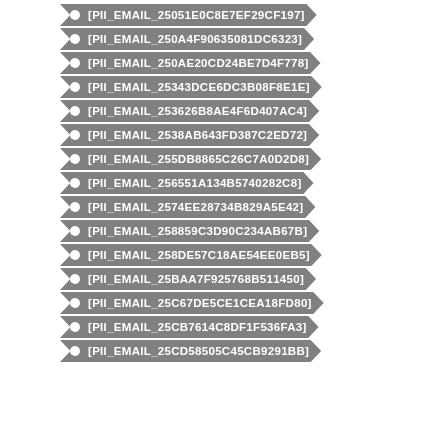[PII_EMAIL_25051E0C8E7EF29CF197]
[PII_EMAIL_250A4F90635081DC6323]
[PII_EMAIL_250AE20CD24BE7D4F778]
[PII_EMAIL_25343DCE6DC3B08F8E1E]
[PII_EMAIL_253626B8AE4F6D407AC4]
[PII_EMAIL_2538AB643FD387C2ED72]
[PII_EMAIL_255DB8865C26C7A0D2D8]
[PII_EMAIL_256551A134B5740282C8]
[PII_EMAIL_2574EE28734B829A5E42]
[PII_EMAIL_258859C3D90C234AB67B]
[PII_EMAIL_258DE57C18AE54EE0EB5]
[PII_EMAIL_25BAA7F925768B511450]
[PII_EMAIL_25C67DE5CE1CEA18FD80]
[PII_EMAIL_25CB7614C8DF1F536FA3]
[PII_EMAIL_25CD58505C45CB9291BB]